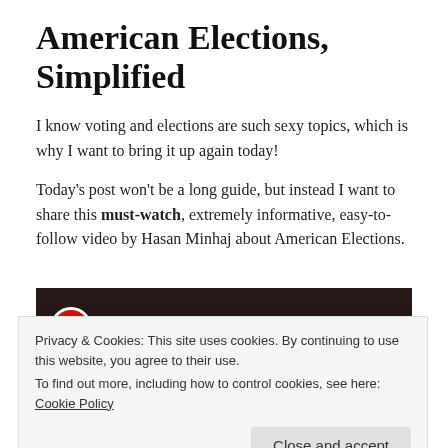American Elections, Simplified
I know voting and elections are such sexy topics, which is why I want to bring it up again today!
Today's post won't be a long guide, but instead I want to share this must-watch, extremely informative, easy-to-follow video by Hasan Minhaj about American Elections.
[Figure (screenshot): Video thumbnail showing a dark background with a red circle logo and the text 'RIOT' at the top, and 'ELECTIONS' text at the bottom in bold white letters on a dark blue background.]
Privacy & Cookies: This site uses cookies. By continuing to use this website, you agree to their use.
To find out more, including how to control cookies, see here: Cookie Policy
Close and accept